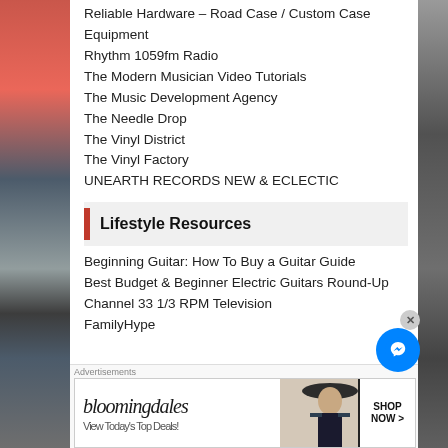Reliable Hardware – Road Case / Custom Case Equipment
Rhythm 1059fm Radio
The Modern Musician Video Tutorials
The Music Development Agency
The Needle Drop
The Vinyl District
The Vinyl Factory
UNEARTH RECORDS NEW & ECLECTIC
Lifestyle Resources
Beginning Guitar: How To Buy a Guitar Guide
Best Budget & Beginner Electric Guitars Round-Up
Channel 33 1/3 RPM Television
FamilyHype
Advertisements
[Figure (screenshot): Bloomingdale's advertisement banner with 'View Today's Top Deals!' and 'SHOP NOW >' button, showing a woman in a wide-brim hat]